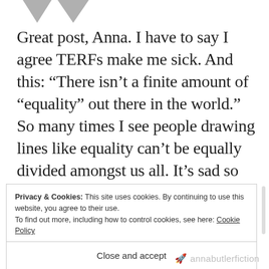[Figure (illustration): Two grey downward-pointing arrow/chevron avatar shapes at the top of the page]
Great post, Anna. I have to say I agree TERFs make me sick. And this: “There isn’t a finite amount of “equality” out there in the world.” So many times I see people drawing lines like equality can’t be equally divided amongst us all. It’s sad so many otherwise brilliant women are blinkered when it comes to this.
Privacy & Cookies: This site uses cookies. By continuing to use this website, you agree to their use.
To find out more, including how to control cookies, see here: Cookie Policy
Close and accept
annabutlerfiction